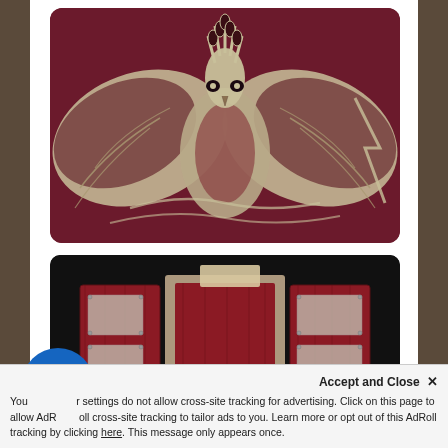[Figure (photo): Intricate wood engraving or laser-etched artwork showing a large bird (phoenix/eagle) with spread wings on a dark red/maroon background. The design is detailed with feather patterns and swirling elements.]
[Figure (photo): Open wooden box or display case with a dark red/mahogany finish, showing acrylic or glass panels attached with small metal screws/studs, viewed from the front at an angle.]
Accept and Close ✕
Your settings do not allow cross-site tracking for advertising. Click on this page to allow AdRoll cross-site tracking to tailor ads to you. Learn more or opt out of this AdRoll tracking by clicking here. This message only appears once.